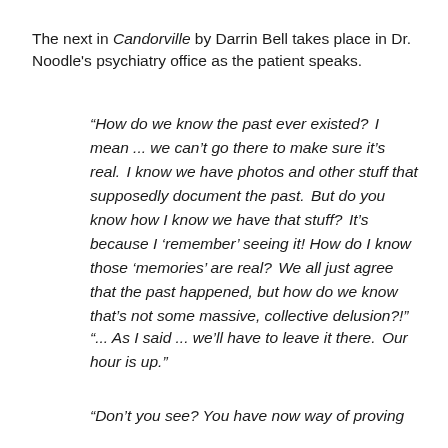The next in Candorville by Darrin Bell takes place in Dr. Noodle's psychiatry office as the patient speaks.
“How do we know the past ever existed?  I mean ... we can’t go there to make sure it’s real.  I know we have photos and other stuff that supposedly document the past.  But do you know how I know we have that stuff?  It’s because I ‘remember’ seeing it! How do I know those ‘memories’ are real?  We all just agree that the past happened, but how do we know that’s not some massive, collective delusion?!”
“... As I said ... we’ll have to leave it there.  Our hour is up.”
“Don’t you see? You have now way of proving